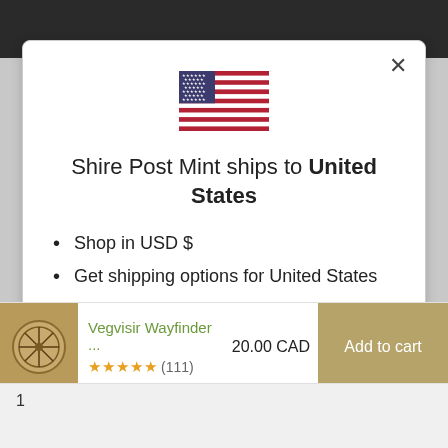[Figure (screenshot): US flag emoji / icon displayed in center of modal]
Shire Post Mint ships to United States
Shop in USD $
Get shipping options for United States
Shop now
Vegvisir Wayfinder ...
20.00 CAD
★★★★★ (111)
Add to cart
1